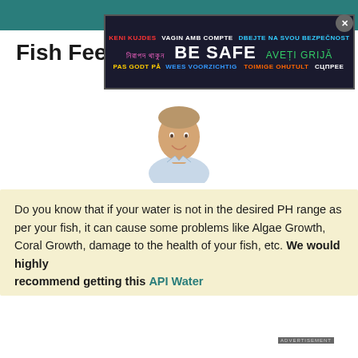Fish Feeding Schedule
By Adam Edmond
[Figure (photo): Headshot of Adam Edmond, a man in a light blue shirt, smiling]
Do you know that if your water is not in the desired PH range as per your fish, it can cause some problems like Algae Growth, Coral Growth, damage to the health of your fish, etc. We would highly recommend getting this API Water